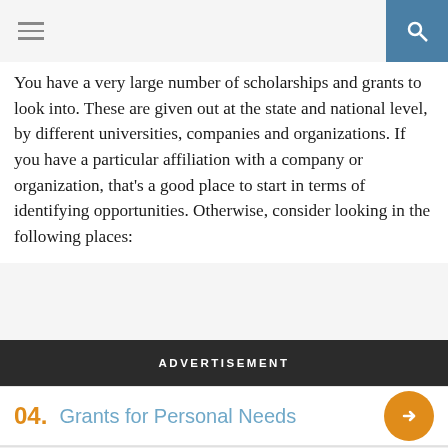[Figure (photo): Photo of a person from behind, wearing a white t-shirt, jeans, and a belt, standing outdoors on a sidewalk]
You have a very large number of scholarships and grants to look into. These are given out at the state and national level, by different universities, companies and organizations. If you have a particular affiliation with a company or organization, that’s a good place to start in terms of identifying opportunities. Otherwise, consider looking in the following places:
ADVERTISEMENT
04. Grants for Personal Needs